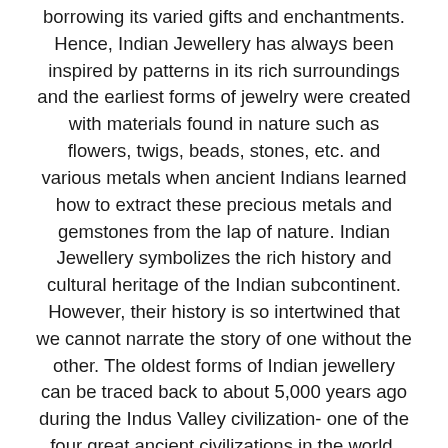borrowing its varied gifts and enchantments. Hence, Indian Jewellery has always been inspired by patterns in its rich surroundings and the earliest forms of jewelry were created with materials found in nature such as flowers, twigs, beads, stones, etc. and various metals when ancient Indians learned how to extract these precious metals and gemstones from the lap of nature. Indian Jewellery symbolizes the rich history and cultural heritage of the Indian subcontinent. However, their history is so intertwined that we cannot narrate the story of one without the other. The oldest forms of Indian jewellery can be traced back to about 5,000 years ago during the Indus Valley civilization- one of the four great ancient civilizations in the world. Since then, a number of jewels have been found from different time periods and spanning across various regions of the country. Hence, Indian Jewellery is an important cultural marker for archaeologists and designers who have inherited the craftsmanship of the Indian Karigar- discovered, honed,